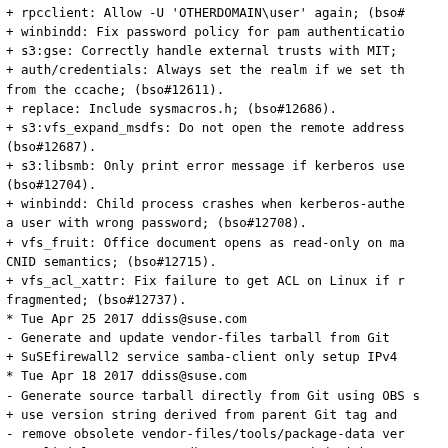+ rpcclient: Allow -U 'OTHERDOMAIN\user' again; (bso#
+ winbindd: Fix password for pam authenticatio
+ s3:gse: Correctly handle external trusts with MIT;
+ auth/credentials: Always set the realm if we set th from the ccache; (bso#12611).
+ replace: Include sysmacros.h; (bso#12686).
+ s3:vfs_expand_msdfs: Do not open the remote address (bso#12687).
+ s3:libsmb: Only print error message if kerberos use (bso#12704).
+ winbindd: Child process crashes when kerberos-authe a user with wrong password; (bso#12708).
+ vfs_fruit: Office document opens as read-only on ma CNID semantics; (bso#12715).
+ vfs_acl_xattr: Fix failure to get ACL on Linux if r fragmented; (bso#12737).
* Tue Apr 25 2017 ddiss@suse.com
  - Generate and update vendor-files tarball from Git
    + SuSEfirewall2 service samba-client only setup IPv4
* Tue Apr 18 2017 ddiss@suse.com
  - Generate source tarball directly from Git using OBS s
    + use version string derived from parent Git tag and
    - remove obsolete vendor-files/tools/package-data ver
    + explicitly generate ctdb manpages, needed without '
* Mon Apr 10 2017 ddiss@suse.com
  - Update to 4.6.2
    + remove bso#12721 patches now upstream
* Fri Apr 07 2017 ddiss@suse.com
  - Enable samba-ceph build for openSUSE and SLE12SP3+;
    + x86-64 and aarch64
* Mon Apr 03 2017 ddiss@suse.com